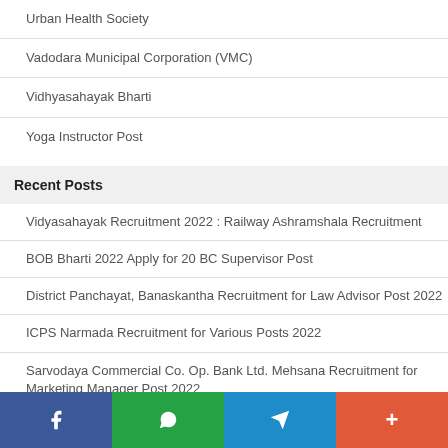Urban Health Society
Vadodara Municipal Corporation (VMC)
Vidhyasahayak Bharti
Yoga Instructor Post
Recent Posts
Vidyasahayak Recruitment 2022 : Railway Ashramshala Recruitment
BOB Bharti 2022 Apply for 20 BC Supervisor Post
District Panchayat, Banaskantha Recruitment for Law Advisor Post 2022
ICPS Narmada Recruitment for Various Posts 2022
Sarvodaya Commercial Co. Op. Bank Ltd. Mehsana Recruitment for Marketing Manager Post 2022